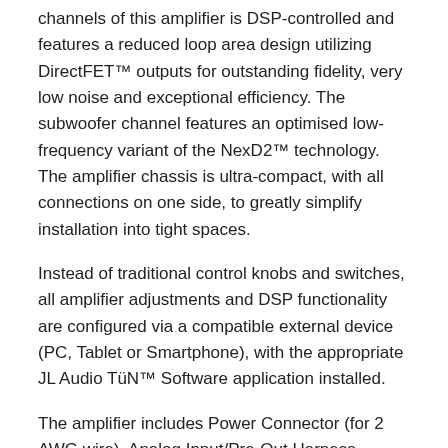channels of this amplifier is DSP-controlled and features a reduced loop area design utilizing DirectFET™ outputs for outstanding fidelity, very low noise and exceptional efficiency. The subwoofer channel features an optimised low-frequency variant of the NexD2™ technology. The amplifier chassis is ultra-compact, with all connections on one side, to greatly simplify installation into tight spaces.
Instead of traditional control knobs and switches, all amplifier adjustments and DSP functionality are configured via a compatible external device (PC, Tablet or Smartphone), with the appropriate JL Audio TüN™ Software application installed.
The amplifier includes Power Connector (for 2 AWG wire), Analog Input/Pre-Out Harness, Speaker Output Harness, Subwoofer Output Connector, 6 ft A/B USB Cable.